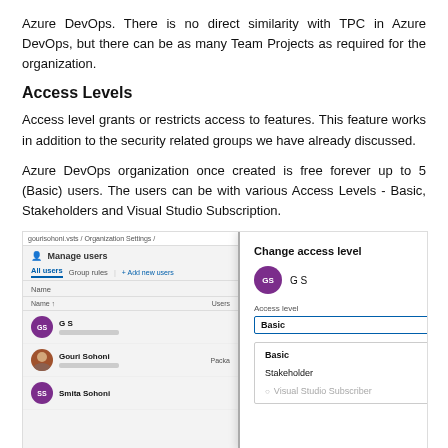Azure DevOps. There is no direct similarity with TPC in Azure DevOps, but there can be as many Team Projects as required for the organization.
Access Levels
Access level grants or restricts access to features. This feature works in addition to the security related groups we have already discussed.
Azure DevOps organization once created is free forever up to 5 (Basic) users. The users can be with various Access Levels - Basic, Stakeholders and Visual Studio Subscription.
[Figure (screenshot): Screenshot of Azure DevOps Manage users page showing user list with G S, Gouri Sohoni, Smita Sohoni, and a 'Change access level' dialog overlaid with options: Basic (selected), Stakeholder, Visual Studio Subscriber. Last Access shown as 4/25/2019.]